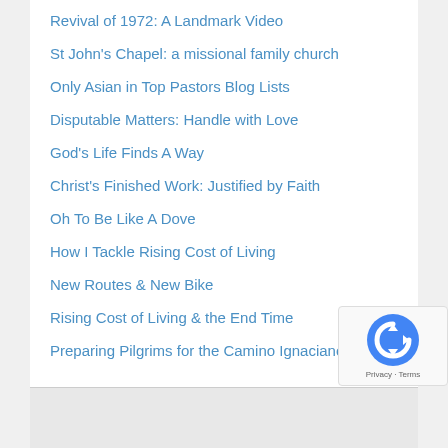Revival of 1972: A Landmark Video
St John's Chapel: a missional family church
Only Asian in Top Pastors Blog Lists
Disputable Matters: Handle with Love
God's Life Finds A Way
Christ's Finished Work: Justified by Faith
Oh To Be Like A Dove
How I Tackle Rising Cost of Living
New Routes & New Bike
Rising Cost of Living & the End Time
Preparing Pilgrims for the Camino Ignaciano